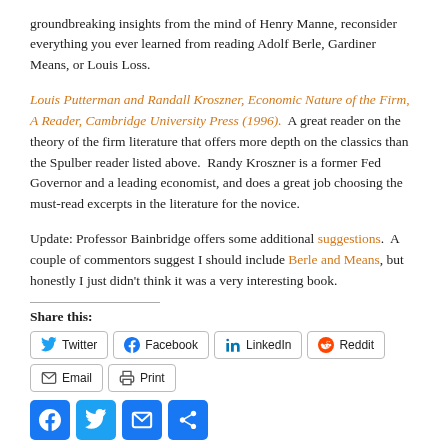groundbreaking insights from the mind of Henry Manne, reconsider everything you ever learned from reading Adolf Berle, Gardiner Means, or Louis Loss.
Louis Putterman and Randall Kroszner, Economic Nature of the Firm, A Reader, Cambridge University Press (1996).  A great reader on the theory of the firm literature that offers more depth on the classics than the Spulber reader listed above.  Randy Kroszner is a former Fed Governor and a leading economist, and does a great job choosing the must-read excerpts in the literature for the novice.
Update: Professor Bainbridge offers some additional suggestions.  A couple of commentors suggest I should include Berle and Means, but honestly I just didn't think it was a very interesting book.
Share this:
Twitter Facebook LinkedIn Reddit Email Print